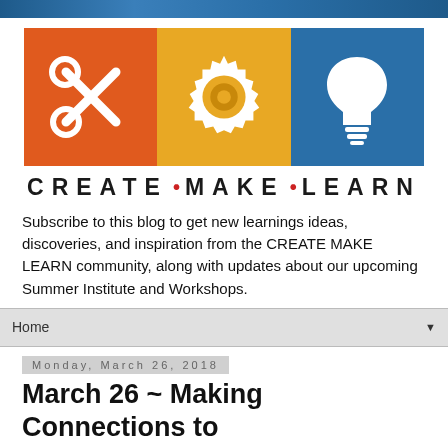[Figure (logo): CREATE MAKE LEARN logo with three icon boxes: orange scissors, yellow gear, blue lightbulb, with text CREATE • MAKE • LEARN below]
Subscribe to this blog to get new learnings ideas, discoveries, and inspiration from the CREATE MAKE LEARN community, along with updates about our upcoming Summer Institute and Workshops.
Home
Monday, March 26, 2018
March 26 ~ Making Connections to